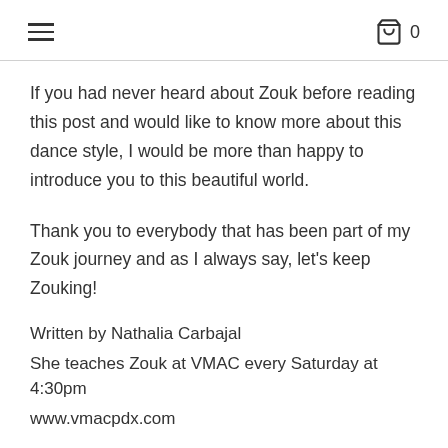≡  🛍 0
If you had never heard about Zouk before reading this post and would like to know more about this dance style, I would be more than happy to introduce you to this beautiful world.
Thank you to everybody that has been part of my Zouk journey and as I always say, let's keep Zouking!
Written by Nathalia Carbajal
She teaches Zouk at VMAC every Saturday at 4:30pm
www.vmacpdx.com